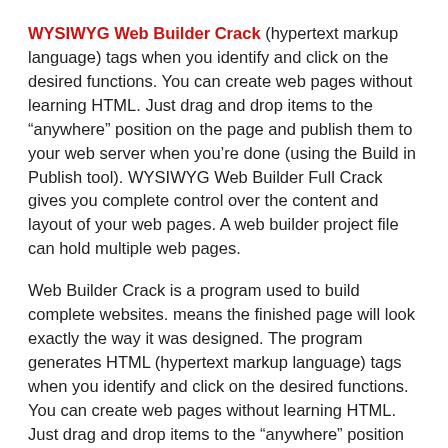WYSIWYG Web Builder Crack (hypertext markup language) tags when you identify and click on the desired functions. You can create web pages without learning HTML. Just drag and drop items to the “anywhere” position on the page and publish them to your web server when you’re done (using the Build in Publish tool). WYSIWYG Web Builder Full Crack gives you complete control over the content and layout of your web pages. A web builder project file can hold multiple web pages.
Web Builder Crack is a program used to build complete websites. means the finished page will look exactly the way it was designed. The program generates HTML (hypertext markup language) tags when you identify and click on the desired functions. You can create web pages without learning HTML. Just drag and drop items to the “anywhere” position on the page and publish them to your web server when you’re done (using the Build in Publish tool). WYSIWYG Web Builder Full Crack gives you complete control over the content and layout of your web pages. A